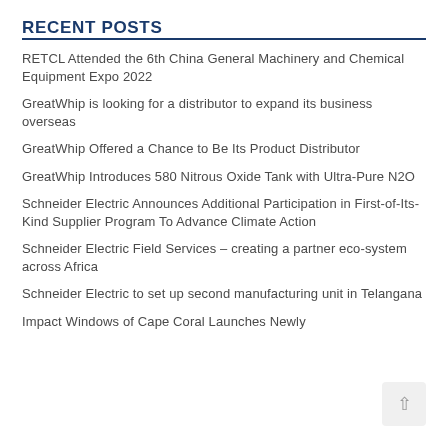RECENT POSTS
RETCL Attended the 6th China General Machinery and Chemical Equipment Expo 2022
GreatWhip is looking for a distributor to expand its business overseas
GreatWhip Offered a Chance to Be Its Product Distributor
GreatWhip Introduces 580 Nitrous Oxide Tank with Ultra-Pure N2O
Schneider Electric Announces Additional Participation in First-of-Its-Kind Supplier Program To Advance Climate Action
Schneider Electric Field Services – creating a partner eco-system across Africa
Schneider Electric to set up second manufacturing unit in Telangana
Impact Windows of Cape Coral Launches Newly